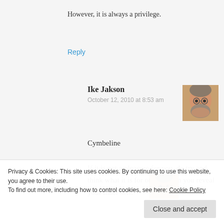However, it is always a privilege.
Reply
Ike Jakson
October 12, 2010 at 8:53 am
[Figure (photo): Avatar photo of Ike Jakson, a middle-aged man with beard]
Cymbeline

If it is not a pleasure for you, do try and think what it is for others when you reveal your inner self.
[Figure (photo): Partial avatar photo visible at bottom of page]
Ike Ja...
Privacy & Cookies: This site uses cookies. By continuing to use this website, you agree to their use.
To find out more, including how to control cookies, see here: Cookie Policy
Close and accept